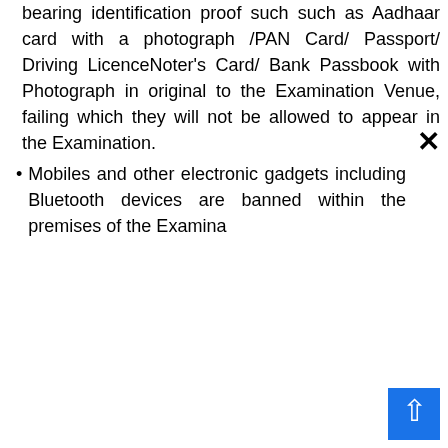bearing identification proof such such as Aadhaar card with a photograph /PAN Card/ Passport/ Driving LicenceNoter's Card/ Bank Passbook with Photograph in original to the Examination Venue, failing which they will not be allowed to appear in the Examination.
Mobiles and other electronic gadgets including Bluetooth devices are banned within the premises of the Examina